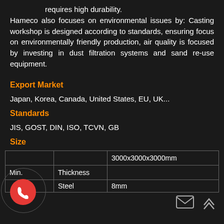requires high durability. Hameco also focuses on environmental issues by: Casting workshop is designed according to standards, ensuring focus on environmentally friendly production, air quality is focused by investing in dust filtration systems and sand re-use equipment.
Export Market
Japan, Korea, Canada, United States, EU, UK...
Standards
JIS, GOST, DIN, ISO, TCVN, GB
Size
|  |  | 3000x3000x3000mm |
| --- | --- | --- |
| Min. | Thickness |  |
|  | Steel | 8mm |